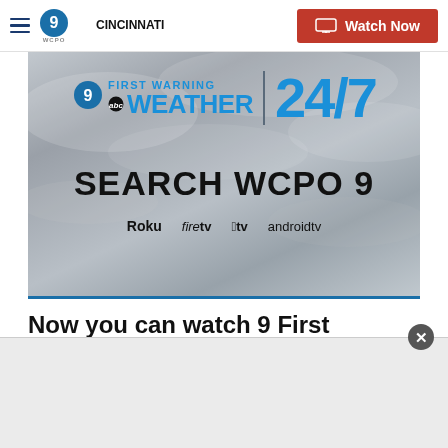WCPO 9 Cincinnati — Watch Now
[Figure (screenshot): 9 First Warning Weather 24/7 — Search WCPO 9 on Roku, Fire TV, Apple TV, Android TV — advertisement banner on cloudy sky background]
Now you can watch 9 First Warning Weather on your time